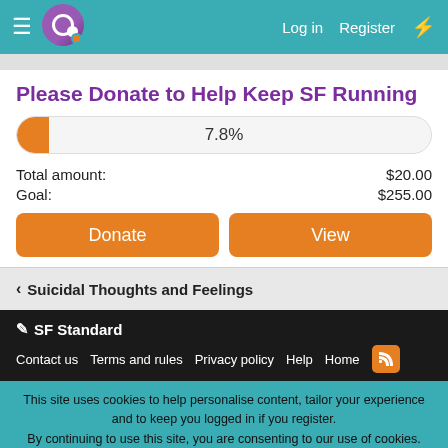Log in  Register
Please Donate to Help Keep SF Running
[Figure (other): Progress bar showing 7.8% donation goal reached]
Total amount: $20.00
Goal: $255.00
Donate  View
< Suicidal Thoughts and Feelings
SF Standard
Contact us  Terms and rules  Privacy policy  Help  Home
This site uses cookies to help personalise content, tailor your experience and to keep you logged in if you register.
By continuing to use this site, you are consenting to our use of cookies.
Accept  Learn more...